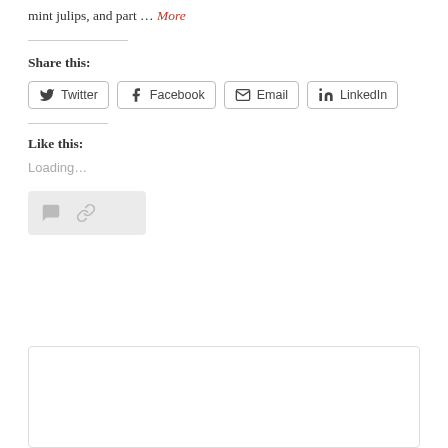mint julips, and part … More
Share this:
[Figure (infographic): Social sharing buttons: Twitter, Facebook, Email, LinkedIn]
Like this:
Loading…
[Figure (infographic): Icon card with comment and link icons]
[Figure (other): Empty white box with border at bottom of page]